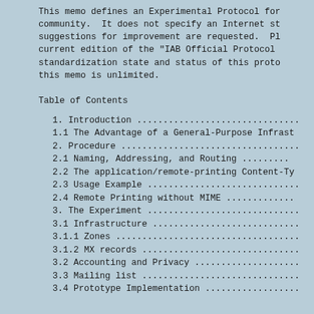This memo defines an Experimental Protocol for community.  It does not specify an Internet st suggestions for improvement are requested.  Pl current edition of the "IAB Official Protocol standardization state and status of this proto this memo is unlimited.
Table of Contents
1. Introduction ...............................
1.1 The Advantage of a General-Purpose Infrast
2. Procedure ..................................
2.1 Naming, Addressing, and Routing .........
2.2 The application/remote-printing Content-Ty
2.3 Usage Example .............................
2.4 Remote Printing without MIME .............
3. The Experiment .............................
3.1 Infrastructure ............................
3.1.1 Zones ...................................
3.1.2 MX records ..............................
3.2 Accounting and Privacy ....................
3.3 Mailing list ..............................
3.4 Prototype Implementation ..................